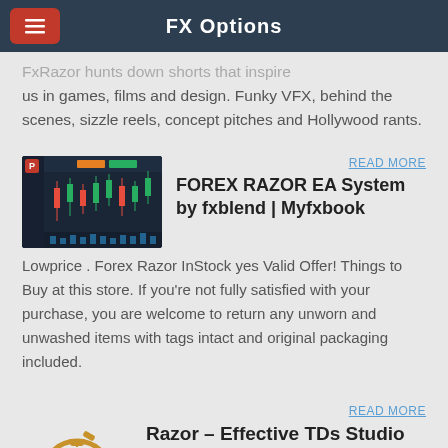FX Options
FxRazor hunts down shorts that inspire us in games, films and design. Funky VFX, behind the scenes, sizzle reels, concept pitches and Hollywood rants.
[Figure (screenshot): Screenshot of Forex trading platform with candlestick chart and trading interface]
READ MORE
FOREX RAZOR EA System by fxblend | Myfxbook
Lowprice . Forex Razor InStock yes Valid Offer! Things to Buy at this store. If you're not fully satisfied with your purchase, you are welcome to return any unworn and unwashed items with tags intact and original packaging included.
READ MORE
[Figure (illustration): Gold/yellow stopwatch icon illustration]
Razor – Effective TDs Studio Inc.
Trading FX or CFDs on leverage is high